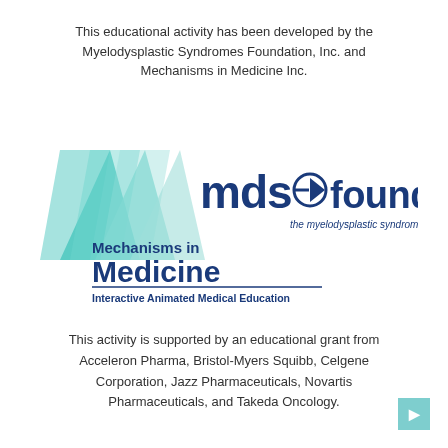This educational activity has been developed by the Myelodysplastic Syndromes Foundation, Inc. and Mechanisms in Medicine Inc.
[Figure (logo): MDS Foundation logo (teal geometric triangles with 'mds foundation' text and 'the myelodysplastic syndromes foundation, inc.' subtitle) combined with Mechanisms in Medicine logo (dark blue bold text with 'Interactive Animated Medical Education' tagline)]
This activity is supported by an educational grant from Acceleron Pharma, Bristol-Myers Squibb, Celgene Corporation, Jazz Pharmaceuticals, Novartis Pharmaceuticals, and Takeda Oncology.